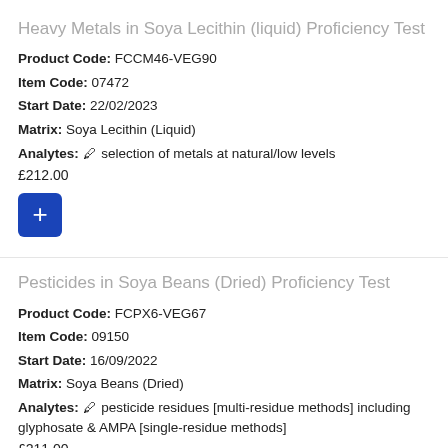Heavy Metals in Soya Lecithin (liquid) Proficiency Test
Product Code: FCCM46-VEG90
Item Code: 07472
Start Date: 22/02/2023
Matrix: Soya Lecithin (Liquid)
Analytes: ✏ selection of metals at natural/low levels
£212.00
[Figure (other): Blue square button with white plus sign for adding item to cart]
Pesticides in Soya Beans (Dried) Proficiency Test
Product Code: FCPX6-VEG67
Item Code: 09150
Start Date: 16/09/2022
Matrix: Soya Beans (Dried)
Analytes: ✏ pesticide residues [multi-residue methods] including glyphosate & AMPA [single-residue methods]
£211.00